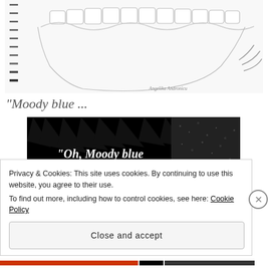[Figure (illustration): Sketch/pencil drawing of a creature showing teeth (smile), claws, and spiral notebook binding on the left edge. Artist signature 'Angelika Andronicu' visible at bottom right of sketch.]
"Moody blue ...
[Figure (illustration): Black and white digital illustration showing a spiky dark figure with white text overlay reading: "Oh, Moody blue Tell me am I gettin' through?" with italic caption 'he sang to me' followed by a blue heart emoji.]
Privacy & Cookies: This site uses cookies. By continuing to use this website, you agree to their use.
To find out more, including how to control cookies, see here: Cookie Policy
Close and accept